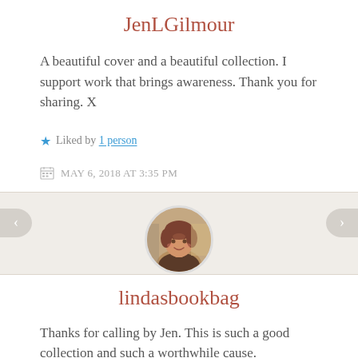JenLGilmour
A beautiful cover and a beautiful collection. I support work that brings awareness. Thank you for sharing. X
Liked by 1 person
MAY 6, 2018 AT 3:35 PM
[Figure (photo): Circular avatar photo of a woman with short hair, smiling, photographed indoors]
lindasbookbag
Thanks for calling by Jen. This is such a good collection and such a worthwhile cause.